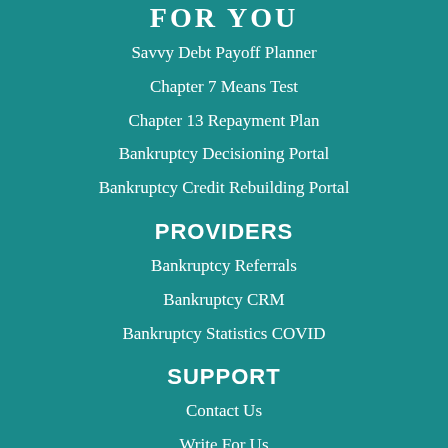FOR YOU
Savvy Debt Payoff Planner
Chapter 7 Means Test
Chapter 13 Repayment Plan
Bankruptcy Decisioning Portal
Bankruptcy Credit Rebuilding Portal
PROVIDERS
Bankruptcy Referrals
Bankruptcy CRM
Bankruptcy Statistics COVID
SUPPORT
Contact Us
Write For Us
Donate